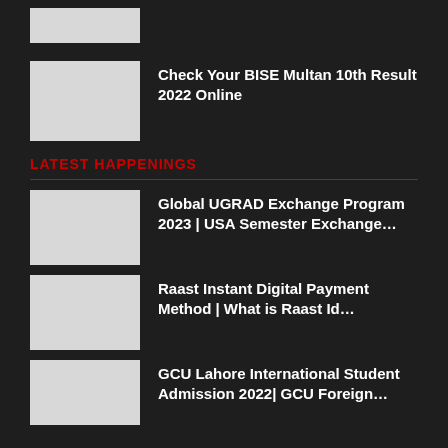[Figure (photo): Thumbnail image placeholder at top]
Check Your BISE Multan 10th Result 2022 Online
LATEST HAPPENINGS
Global UGRAD Exchange Program 2023 | USA Semester Exchange...
Raast Instant Digital Payment Method | What is Raast Id...
GCU Lahore International Student Admission 2022| GCU Foreign...